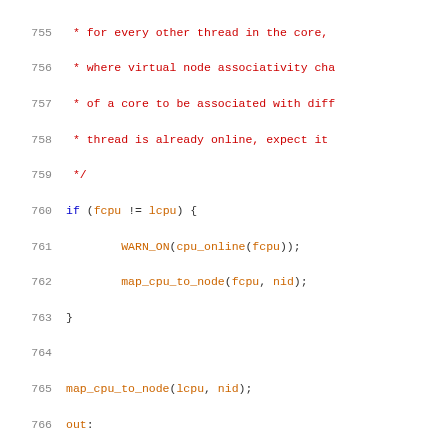Source code listing lines 755-775 showing C kernel code with syntax highlighting. Comments in red, keywords in blue, identifiers/function calls in orange.